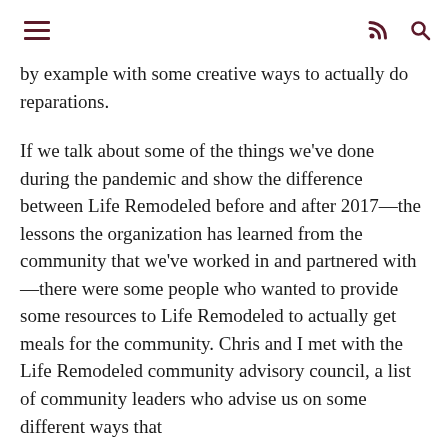≡  ⌂  🔍
by example with some creative ways to actually do reparations.
If we talk about some of the things we've done during the pandemic and show the difference between Life Remodeled before and after 2017—the lessons the organization has learned from the community that we've worked in and partnered with—there were some people who wanted to provide some resources to Life Remodeled to actually get meals for the community. Chris and I met with the Life Remodeled community advisory council, a list of community leaders who advise us on some different ways that